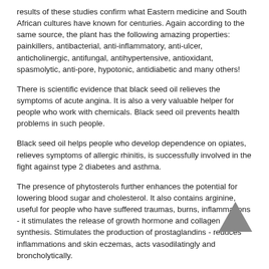results of these studies confirm what Eastern medicine and South African cultures have known for centuries. Again according to the same source, the plant has the following amazing properties: painkillers, antibacterial, anti-inflammatory, anti-ulcer, anticholinergic, antifungal, antihypertensive, antioxidant, spasmolytic, anti-pore, hypotonic, antidiabetic and many others!
There is scientific evidence that black seed oil relieves the symptoms of acute angina. It is also a very valuable helper for people who work with chemicals. Black seed oil prevents health problems in such people.
Black seed oil helps people who develop dependence on opiates, relieves symptoms of allergic rhinitis, is successfully involved in the fight against type 2 diabetes and asthma.
The presence of phytosterols further enhances the potential for lowering blood sugar and cholesterol. It also contains arginine, useful for people who have suffered traumas, burns, inflammations - it stimulates the release of growth hormone and collagen synthesis. Stimulates the production of prostaglandins - reduces inflammations and skin eczemas, acts vasodilatingly and broncholytically.
The unique thymokinone plant exhibits outstanding anti-inflammatory and analgesic properties; A strong antioxidant is...